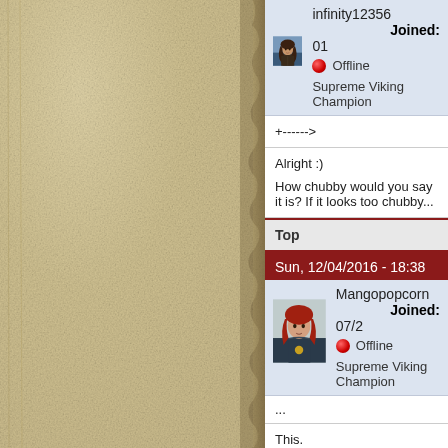infinity12356   Joined: 01
Offline
Supreme Viking Champion
+------>
Alright :)

How chubby would you say it is? If it looks too chubby...
Top
Sun, 12/04/2016 - 18:38
Mangopopcorn   Joined: 07/2
Offline
Supreme Viking Champion
...
This.